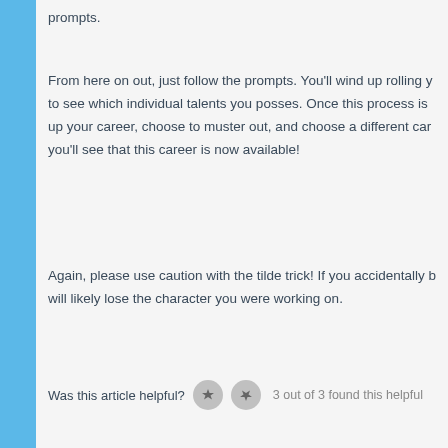From here on out, just follow the prompts. You'll wind up rolling y... to see which individual talents you posses. Once this process is... up your career, choose to muster out, and choose a different car... you'll see that this career is now available!
Again, please use caution with the tilde trick! If you accidentally b... will likely lose the character you were working on.
Was this article helpful? 3 out of 3 found this helpful